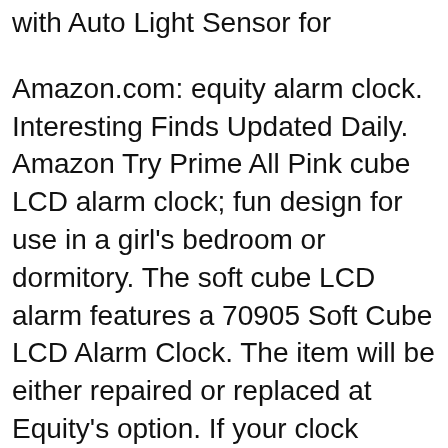with Auto Light Sensor for
Amazon.com: equity alarm clock. Interesting Finds Updated Daily. Amazon Try Prime All Pink cube LCD alarm clock; fun design for use in a girl's bedroom or dormitory. The soft cube LCD alarm features a 70905 Soft Cube LCD Alarm Clock. The item will be either repaired or replaced at Equity's option. If your clock
Shop from the world's largest selection and best deals for Quartz (Mains/Electric) Night Light Alarm Clocks. Shop with confidence on eBay! Time can be smart, clever, ultra-stylish, functional and simple with this cube